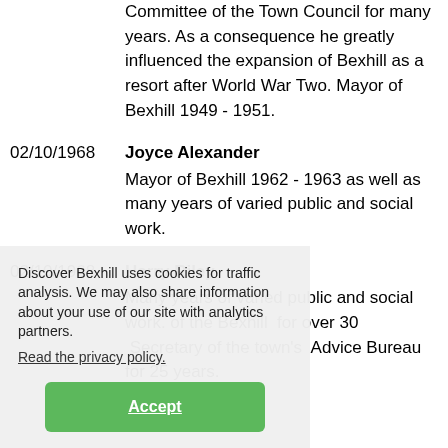Committee of the Town Council for many years. As a consequence he greatly influenced the expansion of Bexhill as a resort after World War Two. Mayor of Bexhill 1949 - 1951.
02/10/1968 Joyce Alexander – Mayor of Bexhill 1962 - 1963 as well as many years of varied public and social work.
02/10/1968 Harry Riley – Many years of varied public and social work. [of the Bexhill] [for over 30] [Secretary of the town's] [Advice Bureau] for 25 years.
Discover Bexhill uses cookies for traffic analysis. We may also share information about your use of our site with analytics partners. Read the privacy policy.
Accept